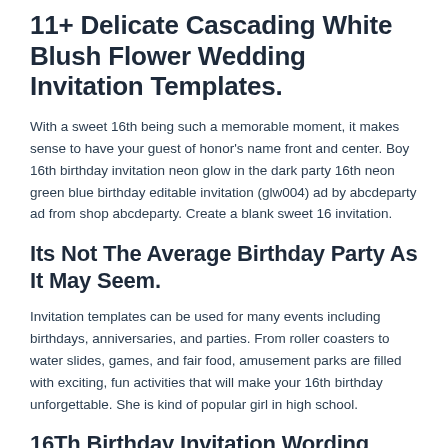11+ Delicate Cascading White Blush Flower Wedding Invitation Templates.
With a sweet 16th being such a memorable moment, it makes sense to have your guest of honor's name front and center. Boy 16th birthday invitation neon glow in the dark party 16th neon green blue birthday editable invitation (glw004) ad by abcdeparty ad from shop abcdeparty. Create a blank sweet 16 invitation.
Its Not The Average Birthday Party As It May Seem.
Invitation templates can be used for many events including birthdays, anniversaries, and parties. From roller coasters to water slides, games, and fair food, amusement parks are filled with exciting, fun activities that will make your 16th birthday unforgettable. She is kind of popular girl in high school.
16Th Birthday Invitation Wording Ideas.